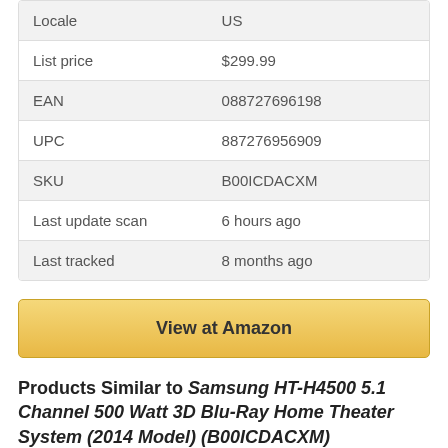|  |  |
| --- | --- |
| Locale | US |
| List price | $299.99 |
| EAN | 088727696198 |
| UPC | 887276956909 |
| SKU | B00ICDACXM |
| Last update scan | 6 hours ago |
| Last tracked | 8 months ago |
View at Amazon
Products Similar to Samsung HT-H4500 5.1 Channel 500 Watt 3D Blu-Ray Home Theater System (2014 Model) (B00ICDACXM)